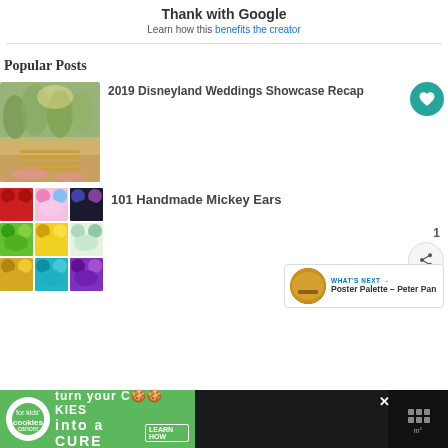Thank with Google
Learn how this benefits the creator
Popular Posts
2019 Disneyland Weddings Showcase Recap
[Figure (photo): Outdoor wedding venue with rows of chairs and blooming trees]
101 Handmade Mickey Ears
[Figure (photo): Grid of 9 colorful handmade Mickey Ears headbands]
[Figure (infographic): What's Next box showing Poster Palette - Peter Pan]
[Figure (photo): Advertisement banner: cookies for kids cancer - turn your cookies into a cure - learn how]